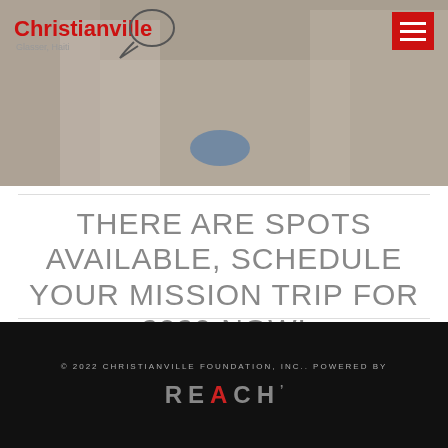[Figure (photo): Header photo showing people in white tops around a table, with the Christianville Glasser Haiti logo in the top left and a red hamburger menu button in the top right]
THERE ARE SPOTS AVAILABLE, SCHEDULE YOUR MISSION TRIP FOR 2020 NOW!
© 2022 CHRISTIANVILLE FOUNDATION, INC.. POWERED BY REACH